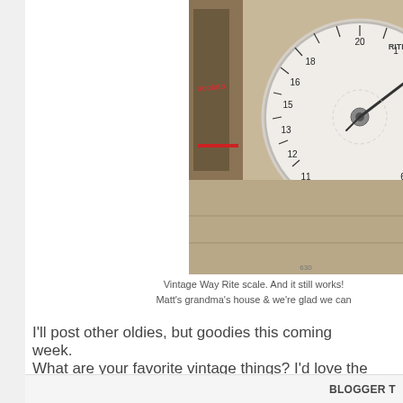[Figure (photo): Close-up photo of a vintage Way Rite kitchen scale dial with items in the background including chocolate packaging with red ribbon]
Vintage Way Rite scale. And it still works! Matt's grandma's house & we're glad we can
I'll post other oldies, but goodies this coming week.
What are your favorite vintage things? I'd love the hear!
ERIN AT 8:51 AM  2 COM  SHARE
Home
View web version
BLOGGER T